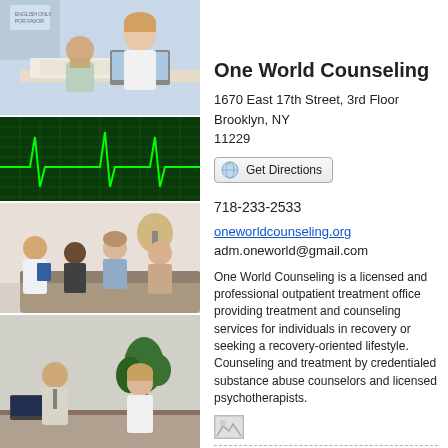[Figure (photo): Collage of four photos: top - nurse/doctor reviewing documents with elderly patient; second - green EKG/heartbeat monitor display; third - doctor consulting with group of patients; bottom - man and woman in professional counseling session]
One World Counseling
1670 East 17th Street, 3rd Floor
Brooklyn, NY
11229
Get Directions
718-233-2533
oneworldcounseling.org
adm.oneworld@gmail.com
One World Counseling is a licensed and professional outpatient treatment office providing treatment and counseling services for individuals in recovery or seeking a recovery-oriented lifestyle. Counseling and treatment by credentialed substance abuse counselors and licensed psychotherapists.
[Figure (photo): Small broken/missing image placeholder icon]